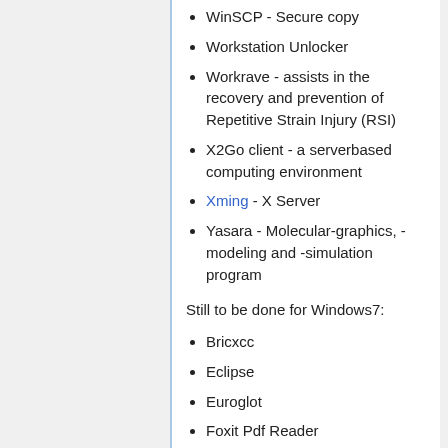WinSCP - Secure copy
Workstation Unlocker
Workrave - assists in the recovery and prevention of Repetitive Strain Injury (RSI)
X2Go client - a serverbased computing environment
Xming - X Server
Yasara - Molecular-graphics, -modeling and -simulation program
Still to be done for Windows7:
Bricxcc
Eclipse
Euroglot
Foxit Pdf Reader
Gnuplot
gs / GhostScript
Helpdesk
iTunes